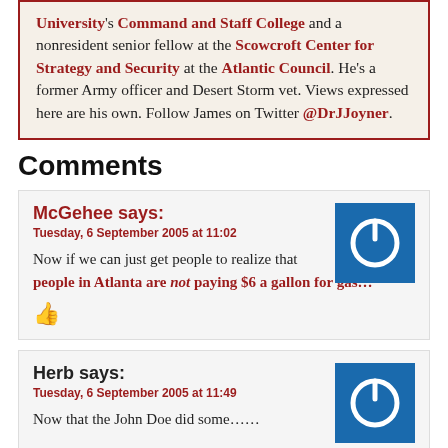University's Command and Staff College and a nonresident senior fellow at the Scowcroft Center for Strategy and Security at the Atlantic Council. He's a former Army officer and Desert Storm vet. Views expressed here are his own. Follow James on Twitter @DrJJoyner.
Comments
McGehee says: Tuesday, 6 September 2005 at 11:02 — Now if we can just get people to realize that people in Atlanta are not paying $6 a gallon for gas…
[Figure (other): Blue square avatar with white power button icon]
Herb says: Tuesday, 6 September 2005 at 11:49 — Now that the John…
[Figure (other): Blue square avatar with white power button icon]